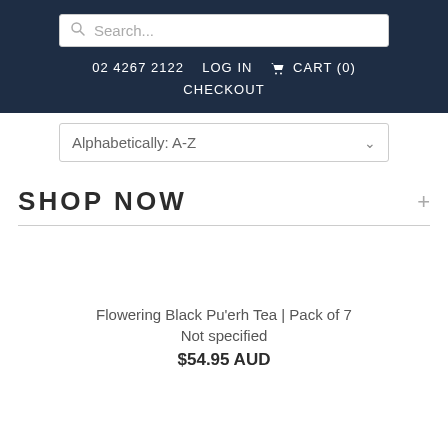Search... | 02 4267 2122 | LOG IN | CART (0) | CHECKOUT
Alphabetically: A-Z
SHOP NOW
Flowering Black Pu'erh Tea | Pack of 7
Not specified
$54.95 AUD